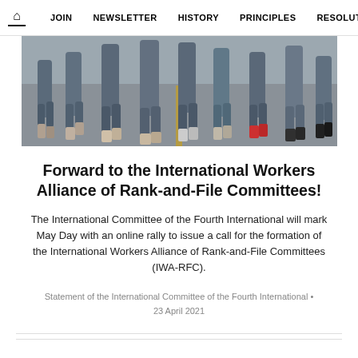🏠  JOIN  NEWSLETTER  HISTORY  PRINCIPLES  RESOLUT
[Figure (photo): Photo of people marching from behind, showing legs and feet on a road with a yellow center line. People wearing jeans, sneakers; one person has red shoes.]
Forward to the International Workers Alliance of Rank-and-File Committees!
The International Committee of the Fourth International will mark May Day with an online rally to issue a call for the formation of the International Workers Alliance of Rank-and-File Committees (IWA-RFC).
Statement of the International Committee of the Fourth International • 23 April 2021